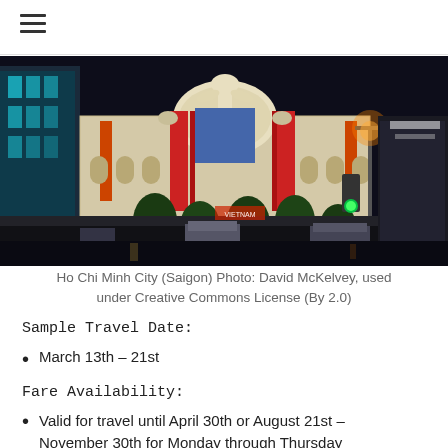[Figure (photo): Nighttime photo of Ho Chi Minh City (Saigon) showing an ornate illuminated historical building with arched windows and decorations, with city street and traffic in foreground.]
Ho Chi Minh City (Saigon) Photo: David McKelvey, used under Creative Commons License (By 2.0)
Sample Travel Date:
March 13th – 21st
Fare Availability:
Valid for travel until April 30th or August 21st – November 30th for Monday through Thursday